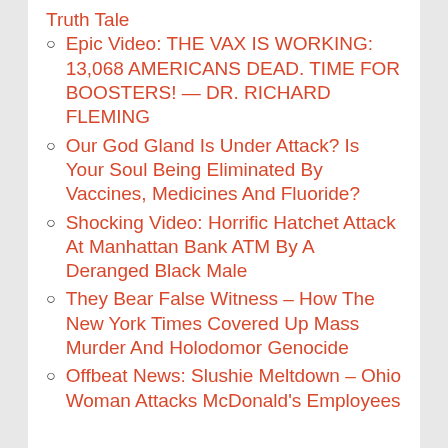Truth Tale
Epic Video: THE VAX IS WORKING: 13,068 AMERICANS DEAD. TIME FOR BOOSTERS! — DR. RICHARD FLEMING
Our God Gland Is Under Attack? Is Your Soul Being Eliminated By Vaccines, Medicines And Fluoride?
Shocking Video: Horrific Hatchet Attack At Manhattan Bank ATM By A Deranged Black Male
They Bear False Witness – How The New York Times Covered Up Mass Murder And Holodomor Genocide
Offbeat News: Slushie Meltdown – Ohio Woman Attacks McDonald's Employees